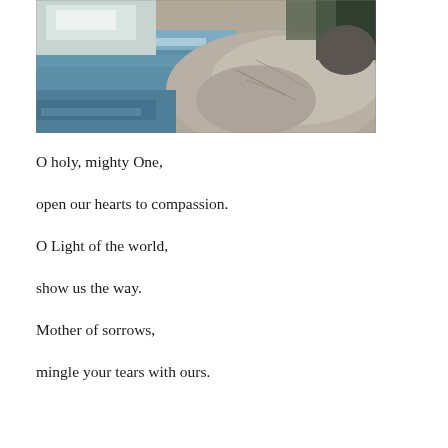[Figure (photo): A photograph of a mountain river or stream scene with rushing water flowing over and around large granite rocks and boulders, with trees visible in the background.]
O holy, mighty One,
open our hearts to compassion.
O Light of the world,
show us the way.
Mother of sorrows,
mingle your tears with ours.